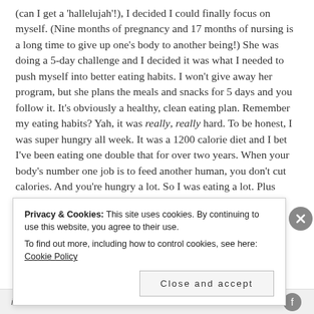(can I get a 'hallelujah'!), I decided I could finally focus on myself. (Nine months of pregnancy and 17 months of nursing is a long time to give up one's body to another being!) She was doing a 5-day challenge and I decided it was what I needed to push myself into better eating habits. I won't give away her program, but she plans the meals and snacks for 5 days and you follow it. It's obviously a healthy, clean eating plan. Remember my eating habits? Yah, it was really, really hard. To be honest, I was super hungry all week. It was a 1200 calorie diet and I bet I've been eating one double that for over two years. When your body's number one job is to feed another human, you don't cut calories. And you're hungry a lot. So I was eating a lot. Plus
Privacy & Cookies: This site uses cookies. By continuing to use this website, you agree to their use.
To find out more, including how to control cookies, see here: Cookie Policy
Close and accept
in less than a week